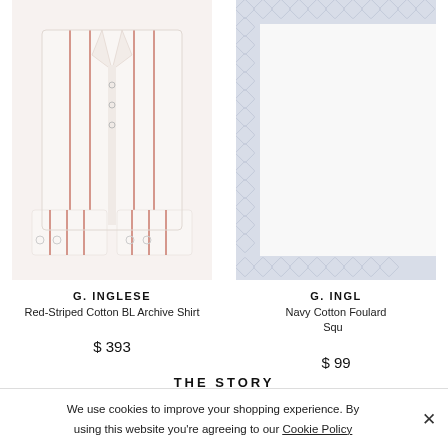[Figure (photo): Folded white shirt with red vertical stripes, G. Inglese brand]
[Figure (photo): Navy cotton foulard pocket square with diamond pattern border, partially visible, G. Inglese brand]
G. INGLESE
Red-Striped Cotton BL Archive Shirt
$ 393
G. INGL...
Navy Cotton Foulard... Squ...
$ 99...
THE STORY
We use cookies to improve your shopping experience. By using this website you're agreeing to our Cookie Policy